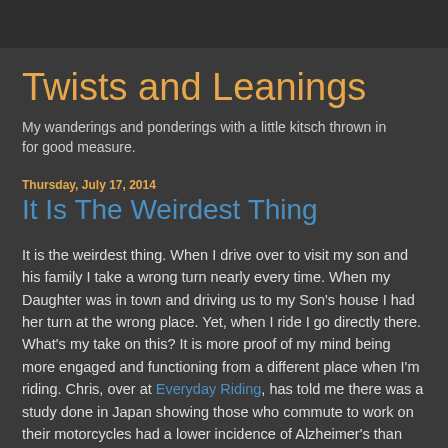Twists and Leanings
My wanderings and ponderings with a little kitsch thrown in for good measure.
Thursday, July 17, 2014
It Is The Weirdest Thing
It is the weirdest thing. When I drive over to visit my son and his family I take a wrong turn nearly every time. When my Daughter was in town and driving us to my Son's house I had her turn at the wrong place. Yet, when I ride I go directly there. What's my take on this? It is more proof of my mind being more engaged and functioning from a different place when I'm riding. Chris, over at Everyday Riding, has told me there was a study done in Japan showing those who commute to work on their motorcycles had a lower incidence of Alzheimer's than those who drive. He linked it for me, but I can't find it. Hopefully he'll pipe up.